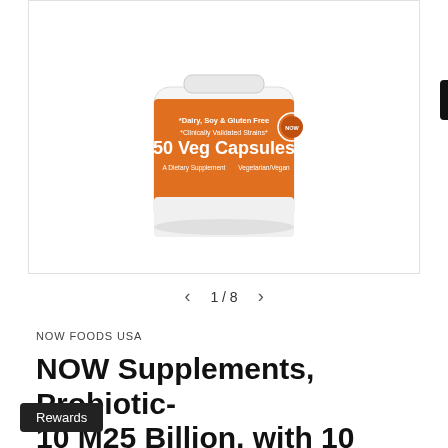[Figure (photo): Product photo of NOW Supplements probiotic bottle with orange label showing '50 Veg Capsules', 'Dairy, Soy & Gluten Free', 'Clinically Validated Strains', displayed in a white bordered image gallery viewer with navigation arrows showing 1/8]
1 / 8
NOW FOODS USA
NOW Supplements, Probiotic-10 M-25 Billion, with 10